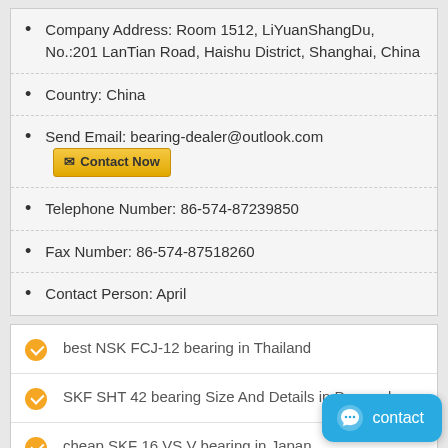Company Address: Room 1512, LiYuanShangDu, No.:201 LanTian Road, Haishu District, Shanghai, China
Country: China
Send Email: bearing-dealer@outlook.com [Contact Now]
Telephone Number: 86-574-87239850
Fax Number: 86-574-87518260
Contact Person: April
best NSK FCJ-12 bearing in Thailand
SKF SHT 42 bearing Size And Details in Denmark
cheap SKF 16 VS V bearing in Japan
NSK NSK6015-2rz bearing Full Specifications in Uruguay